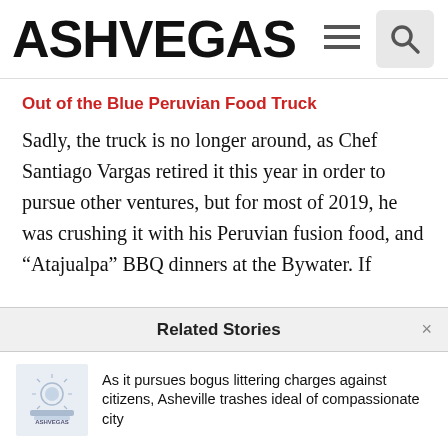ASHVEGAS
Out of the Blue Peruvian Food Truck
Sadly, the truck is no longer around, as Chef Santiago Vargas retired it this year in order to pursue other ventures, but for most of 2019, he was crushing it with his Peruvian fusion food, and “Atajualpa” BBQ dinners at the Bywater. If
Related Stories
As it pursues bogus littering charges against citizens, Asheville trashes ideal of compassionate city